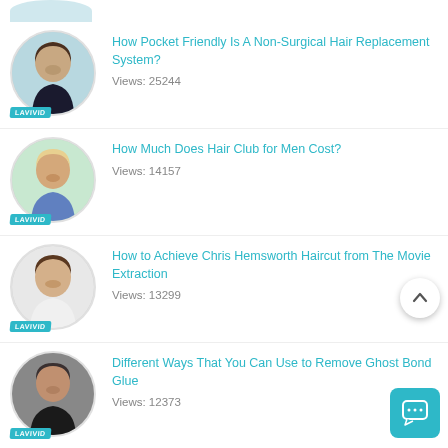[Figure (screenshot): Website blog listing page from LAVIVID showing thumbnail images of men with hairstyles alongside article titles and view counts]
How Pocket Friendly Is A Non-Surgical Hair Replacement System?
Views: 25244
How Much Does Hair Club for Men Cost?
Views: 14157
How to Achieve Chris Hemsworth Haircut from The Movie Extraction
Views: 13299
Different Ways That You Can Use to Remove Ghost Bond Glue
Views: 12373